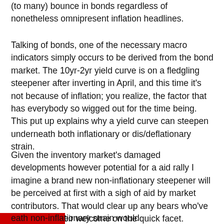(to many) bounce in bonds regardless of nonetheless omnipresent inflation headlines.
Talking of bonds, one of the necessary macro indicators simply occurs to be derived from the bond market. The 10yr-2yr yield curve is on a fledgling steepener after inverting in April, and this time it's not because of inflation; you realize, the factor that has everybody so wigged out for the time being. This put up explains why a yield curve can steepen underneath both inflationary or dis/deflationary strain.
Given the inventory market's damaged developments however potential for a aid rally I imagine a brand new non-inflationary steepener will be perceived at first with a sigh of aid by market contributors. That would clear up any bears who've overstayed their welcome on the quick facet. However a continued yield curve steepener underneath non-inflationary strain would